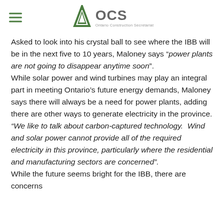OCS Ontario Construction Secretariat
Asked to look into his crystal ball to see where the IBB will be in the next five to 10 years, Maloney says “power plants are not going to disappear anytime soon”.
While solar power and wind turbines may play an integral part in meeting Ontario’s future energy demands, Maloney says there will always be a need for power plants, adding there are other ways to generate electricity in the province.
“We like to talk about carbon-captured technology.  Wind and solar power cannot provide all of the required electricity in this province, particularly where the residential and manufacturing sectors are concerned”.
While the future seems bright for the IBB, there are concerns